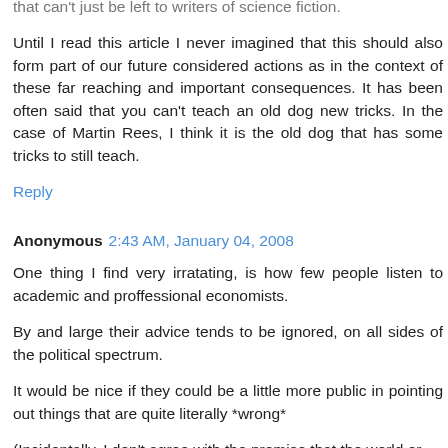that can't just be left to writers of science fiction.
Until I read this article I never imagined that this should also form part of our future considered actions as in the context of these far reaching and important consequences. It has been often said that you can't teach an old dog new tricks. In the case of Martin Rees, I think it is the old dog that has some tricks to still teach.
Reply
Anonymous 2:43 AM, January 04, 2008
One thing I find very irratating, is how few people listen to academic and proffessional economists.
By and large their advice tends to be ignored, on all sides of the political spectrum.
It would be nice if they could be a little more public in pointing out things that are quite literally *wrong*
(Incidentally, I don't agree with the premise that the world or